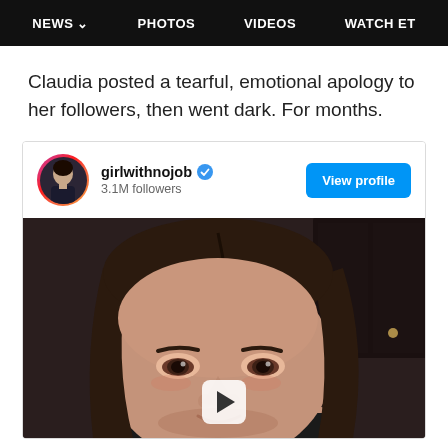NEWS  PHOTOS  VIDEOS  WATCH ET
Claudia posted a tearful, emotional apology to her followers, then went dark. For months.
[Figure (screenshot): Instagram embed card showing girlwithnojob account with 3.1M followers, View profile button, and a video thumbnail of a woman with tearful eyes looking at camera in dark setting with a play button overlay.]